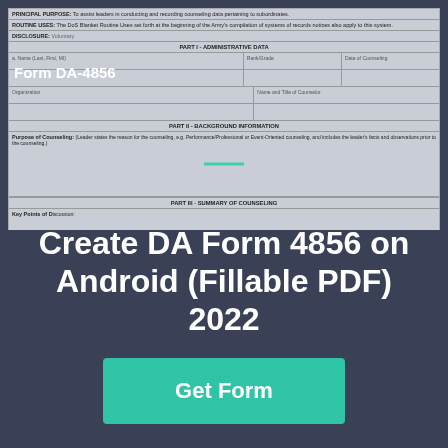[Figure (screenshot): Partial view of DA Form 4856 Developmental Counseling Form showing administrative data, background information, and summary of counseling sections]
Form DA-4856
Create DA Form 4856 on Android (Fillable PDF) 2022
Get Form